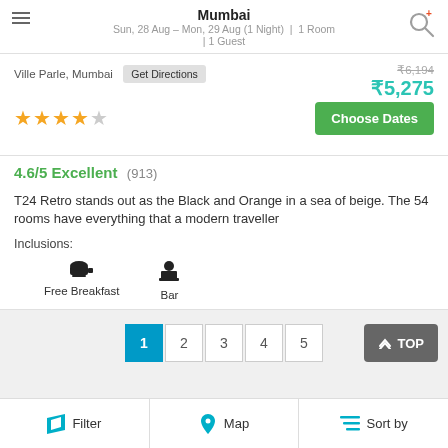Mumbai
Sun, 28 Aug – Mon, 29 Aug (1 Night) | 1 Room | 1 Guest
Ville Parle, Mumbai  Get Directions
★★★★☆
₹6,194  ₹5,275
Choose Dates
4.6/5 Excellent  (913)
T24 Retro stands out as the Black and Orange in a sea of beige. The 54 rooms have everything that a modern traveller
Inclusions:
Free Breakfast
Bar
1  2  3  4  5    ▲ TOP
Filter    Map    Sort by